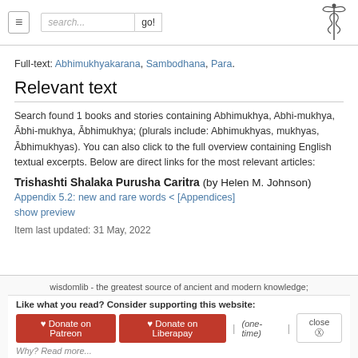Navigation bar with hamburger menu, search box, go button, and caduceus logo
Full-text: Abhimukhyakarana, Sambodhana, Para.
Relevant text
Search found 1 books and stories containing Abhimukhya, Abhi-mukhya, Ābhi-mukhya, Ābhimukhya; (plurals include: Abhimukhyas, mukhyas, Ābhimukhyas). You can also click to the full overview containing English textual excerpts. Below are direct links for the most relevant articles:
Trishashti Shalaka Purusha Caritra (by Helen M. Johnson)
Appendix 5.2: new and rare words < [Appendices]
show preview
Item last updated: 31 May, 2022
wisdomlib - the greatest source of ancient and modern knowledge;
Like what you read? Consider supporting this website:
♥ Donate on Patreon   ♥ Donate on Liberapay   |   (one-time)   |   close ⊗
Why? Read more...